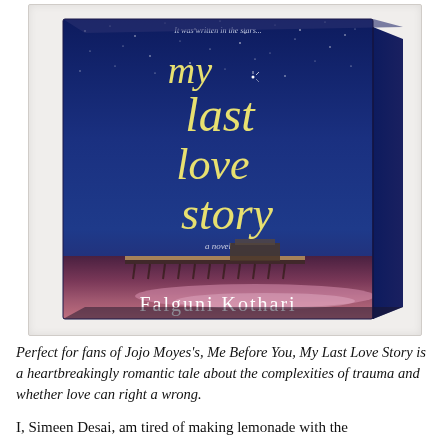[Figure (illustration): 3D book cover of 'My Last Love Story' by Falguni Kothari. The cover shows a night beach scene with a starry blue sky, a lit pier in the background, and sandy beach in the foreground with light trails. The title 'my last love story' is written in large cursive yellow/cream text with a tagline 'It was written in the stars'. Subtitle 'a novel' appears below the title. Author name 'Falguni Kothari' appears at the bottom in serif white text. The book is shown in a 3D perspective with a visible spine on the right side.]
Perfect for fans of Jojo Moyes's, Me Before You, My Last Love Story is a heartbreakingly romantic tale about the complexities of trauma and whether love can right a wrong.
I, Simeen Desai, am tired of making lemonade with the